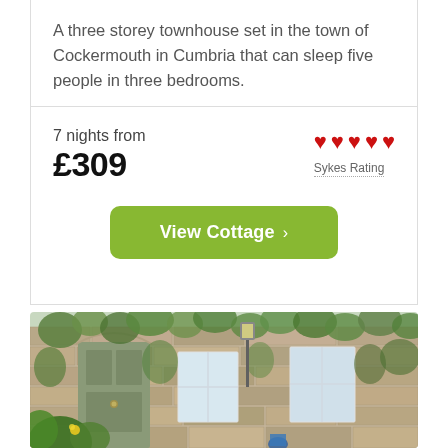A three storey townhouse set in the town of Cockermouth in Cumbria that can sleep five people in three bedrooms.
7 nights from £309
[Figure (infographic): Five red heart icons representing Sykes Rating]
Sykes Rating
View Cottage ›
[Figure (photo): Exterior photo of an ivy-covered stone townhouse with a sage green front door, decorative door knocker, white-framed windows, and lush green climbing plants on the stone facade]